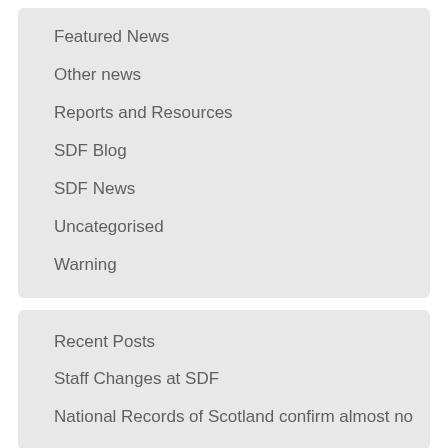Featured News
Other news
Reports and Resources
SDF Blog
SDF News
Uncategorised
Warning
Recent Posts
Staff Changes at SDF
National Records of Scotland confirm almost no